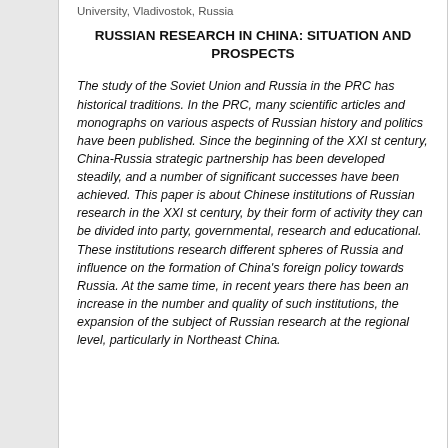University, Vladivostok, Russia
RUSSIAN RESEARCH IN CHINA: SITUATION AND PROSPECTS
The study of the Soviet Union and Russia in the PRC has historical traditions. In the PRC, many scientific articles and monographs on various aspects of Russian history and politics have been published. Since the beginning of the XXI st century, China-Russia strategic partnership has been developed steadily, and a number of significant successes have been achieved. This paper is about Chinese institutions of Russian research in the XXI st century, by their form of activity they can be divided into party, governmental, research and educational. These institutions research different spheres of Russia and influence on the formation of China's foreign policy towards Russia. At the same time, in recent years there has been an increase in the number and quality of such institutions, the expansion of the subject of Russian research at the regional level, particularly in Northeast China.